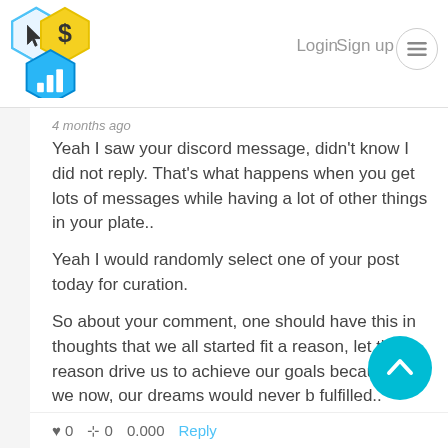Login  Sign up
4 months ago
Yeah I saw your discord message, didn't know I did not reply. That's what happens when you get lots of messages while having a lot of other things in your plate..
Yeah I would randomly select one of your post today for curation.
So about your comment, one should have this in thoughts that we all started fit a reason, let that reason drive us to achieve our goals because if we stop now, our dreams would never be fulfilled..
0  0  0.000  Reply